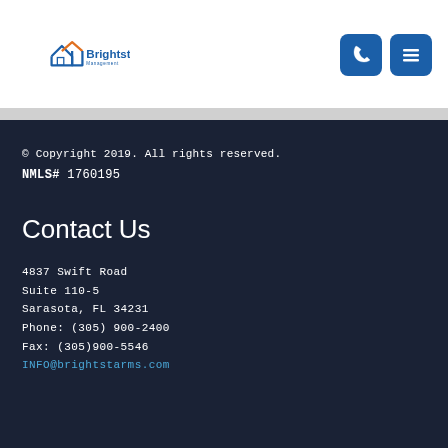[Figure (logo): Brightstar logo with house icon and text 'Brightstar']
[Figure (other): Phone icon button (blue rounded square) and hamburger menu icon button (blue rounded square)]
© Copyright 2019. All rights reserved.
NMLS# 1760195
Contact Us
4837 Swift Road
Suite 110-5
Sarasota, FL 34231
Phone: (305) 900-2400
Fax: (305)900-5546
INFO@brightstarms.com